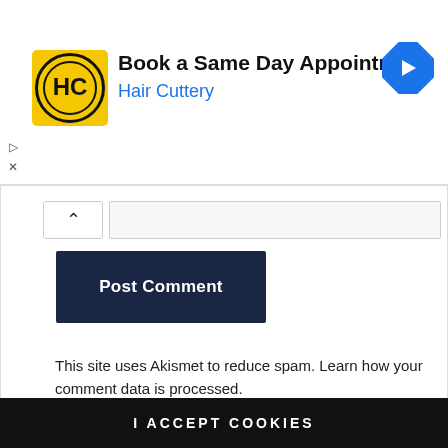[Figure (other): Hair Cuttery ad banner with logo, 'Book a Same Day Appointment' text, and navigation icon]
[Figure (screenshot): Post Comment button area with scroll-up chevron and comment input bar]
This site uses Akismet to reduce spam. Learn how your comment data is processed.
Our website uses cookies. By using our website and agreeing to this policy you consent to our use of cookies in accordance with the terms of this policy. If you do not consent to the use of these cookies please disable them following the instructions in this Cookie Notice so that cookies from this website cannot be placed on your device.
I ACCEPT COOKIES